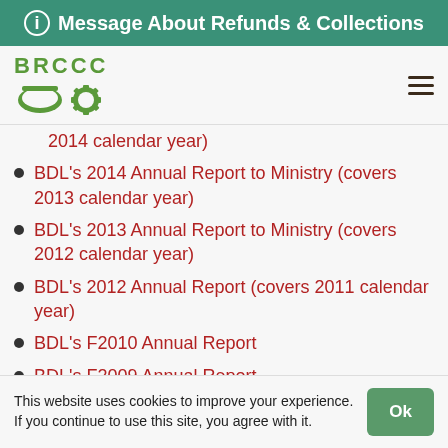Message About Refunds & Collections
[Figure (logo): BRCCC logo with green text and icon]
2014 calendar year)
BDL’s 2014 Annual Report to Ministry (covers 2013 calendar year)
BDL’s 2013 Annual Report to Ministry (covers 2012 calendar year)
BDL’s 2012 Annual Report (covers 2011 calendar year)
BDL’s F2010 Annual Report
BDL’s F2009 Annual Report
This website uses cookies to improve your experience. If you continue to use this site, you agree with it.